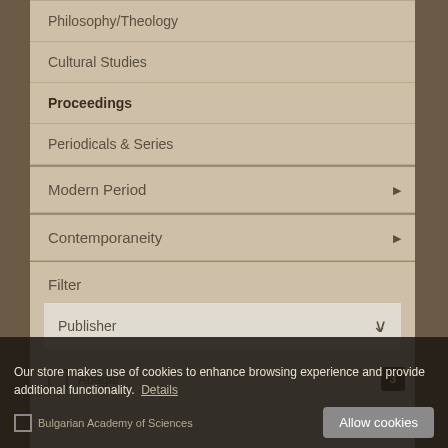Philosophy/Theology
Cultural Studies
Proceedings
Periodicals & Series
Modern Period
Contemporaneity
Filter
Publisher
Abagar
Our store makes use of cookies to enhance browsing experience and provide additional functionality. Details
Bulgarian Academy of Sciences
Allow cookies